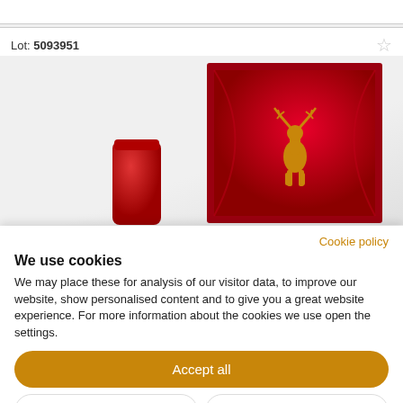Lot: 5093951
[Figure (photo): Red whisky bottle cap on the left and an open red luxury box with a gold stag/deer emblem on the right, against a light grey background.]
Cookie policy
We use cookies
We may place these for analysis of our visitor data, to improve our website, show personalised content and to give you a great website experience. For more information about the cookies we use open the settings.
Accept all
Deny
No, adjust